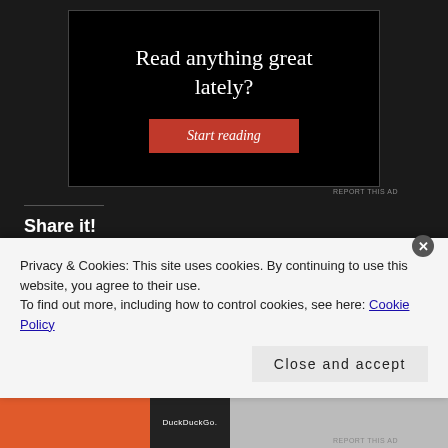[Figure (other): Advertisement banner with black background, text 'Read anything great lately?' and a red 'Start reading' button]
REPORT THIS AD
Share it!
[Figure (other): LinkedIn Share button (blue), Pinterest Save button (red), Facebook Share 0 button (blue)]
Privacy & Cookies: This site uses cookies. By continuing to use this website, you agree to their use.
To find out more, including how to control cookies, see here: Cookie Policy
Close and accept
[Figure (other): Bottom advertisement strip with orange and dark sections, DuckDuckGo branding]